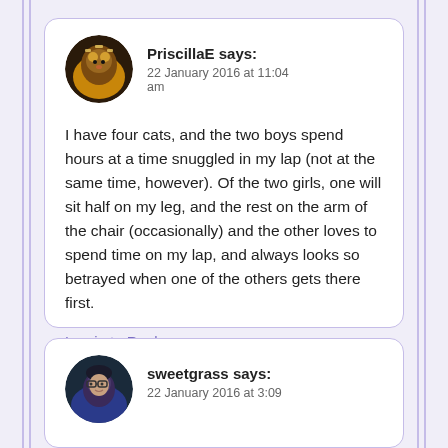PriscillaE says: 22 January 2016 at 11:04 am
I have four cats, and the two boys spend hours at a time snuggled in my lap (not at the same time, however). Of the two girls, one will sit half on my leg, and the rest on the arm of the chair (occasionally) and the other loves to spend time on my lap, and always looks so betrayed when one of the others gets there first.
Log in to Reply
sweetgrass says: 22 January 2016 at 3:09